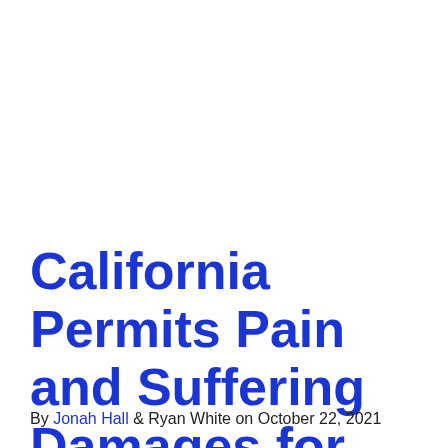California Permits Pain and Suffering Damages for Survival Actions
By Jonah Hall & Ryan White on October 22, 2021